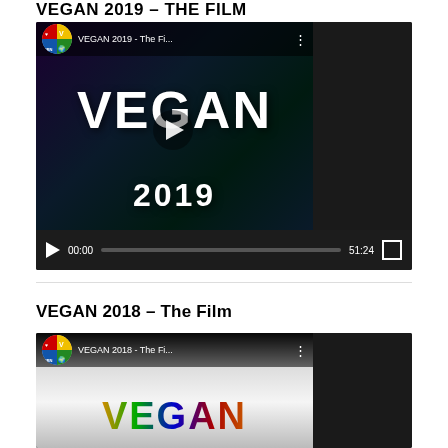VEGAN 2019 – THE FILM
[Figure (screenshot): YouTube video player showing VEGAN 2019 - The Fi... with play button, timestamp 00:00 and duration 51:24, with fullscreen icon. Thumbnail shows VEGAN 2019 text over space/Earth background.]
VEGAN 2018 – The Film
[Figure (screenshot): YouTube video player showing VEGAN 2018 - The Fi... with colorful VEGAN text on thumbnail.]